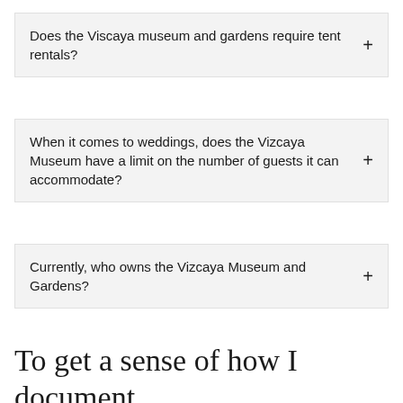Does the Viscaya museum and gardens require tent rentals?
When it comes to weddings, does the Vizcaya Museum have a limit on the number of guests it can accommodate?
Currently, who owns the Vizcaya Museum and Gardens?
To get a sense of how I document
[Figure (other): Hamburger menu icon with three horizontal lines]